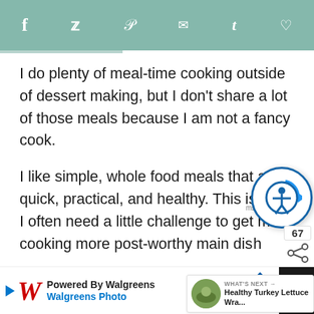Social sharing bar with icons: f, Twitter, Pinterest, email, Tumblr, heart
I do plenty of meal-time cooking outside of dessert making, but I don’t share a lot of those meals because I am not a fancy cook.
I like simple, whole food meals that are quick, practical, and healthy. This is why I often need a little challenge to get me cooking more post-worthy main dis…
Sooo…I’m entering a recipe contest! Pure
[Figure (screenshot): Accessibility widget icon overlay — circular blue icon with person symbol]
[Figure (infographic): Share count: 67, share icon]
[Figure (screenshot): What's Next panel: Healthy Turkey Lettuce Wra... with food thumbnail]
[Figure (screenshot): Walgreens Photo advertisement bar at bottom: Powered By Walgreens, Walgreens Photo]